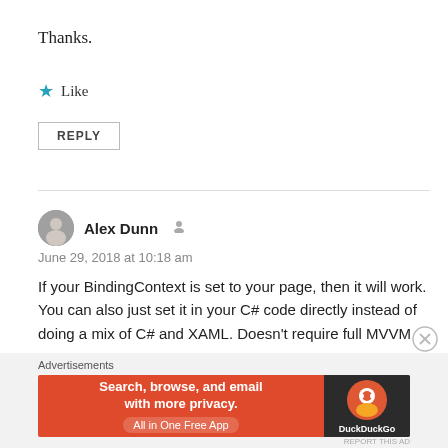Thanks.
★ Like
REPLY
Alex Dunn
June 29, 2018 at 10:18 am
If your BindingContext is set to your page, then it will work. You can also just set it in your C# code directly instead of doing a mix of C# and XAML. Doesn't require full MVVM
Advertisements
[Figure (screenshot): DuckDuckGo advertisement banner: orange background with text 'Search, browse, and email with more privacy. All in One Free App' and DuckDuckGo logo on dark background.]